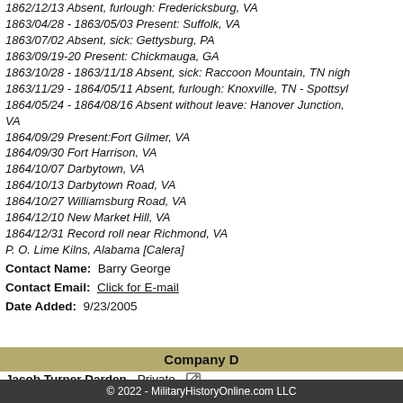1862/12/13 Absent, furlough: Fredericksburg, VA
1863/04/28 - 1863/05/03 Present: Suffolk, VA
1863/07/02 Absent, sick: Gettysburg, PA
1863/09/19-20 Present: Chickmauga, GA
1863/10/28 - 1863/11/18 Absent, sick: Raccoon Mountain, TN nigh
1863/11/29 - 1864/05/11 Absent, furlough: Knoxville, TN - Spottsyl
1864/05/24 - 1864/08/16 Absent without leave: Hanover Junction, VA
1864/09/29 Present:Fort Gilmer, VA
1864/09/30 Fort Harrison, VA
1864/10/07 Darbytown, VA
1864/10/13 Darbytown Road, VA
1864/10/27 Williamsburg Road, VA
1864/12/10 New Market Hill, VA
1864/12/31 Record roll near Richmond, VA
P. O. Lime Kilns, Alabama [Calera]
Contact Name: Barry George
Contact Email: Click for E-mail
Date Added: 9/23/2005
Company D
Jacob Turner Darden - Private
Jacob Turner Darden b. 29-Sep-1827 Edgecombe Co., NC d. 2-Ap
© 2022 - MilitaryHistoryOnline.com LLC